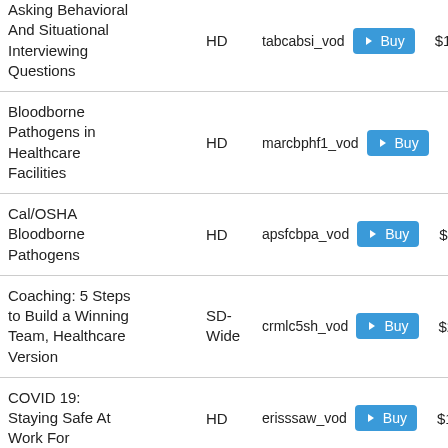| Title | Format | Code | Action | Price |
| --- | --- | --- | --- | --- |
| Asking Behavioral And Situational Interviewing Questions | HD | tabcabsi_vod | Buy | $19.95 |
| Bloodborne Pathogens in Healthcare Facilities | HD | marcbphf1_vod | Buy | $19.95 |
| Cal/OSHA Bloodborne Pathogens | HD | apsfcbpa_vod | Buy | $19.95 |
| Coaching: 5 Steps to Build a Winning Team, Healthcare Version | SD-Wide | crmlc5sh_vod | Buy | $24.95 |
| COVID 19: Staying Safe At Work For... | HD | erisssaw_vod | Buy | $19.95 |